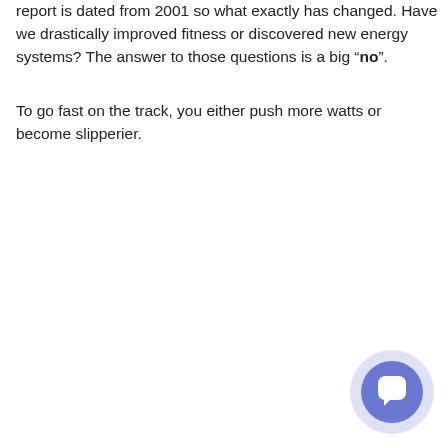report is dated from 2001 so what exactly has changed. Have we drastically improved fitness or discovered new energy systems? The answer to those questions is a big “no”.
To go fast on the track, you either push more watts or become slipperier.
[Figure (other): Chat/support button widget in the bottom-right corner: a large light-purple translucent circle containing a smaller solid blue-purple circle with a white speech bubble (chat) icon inside.]